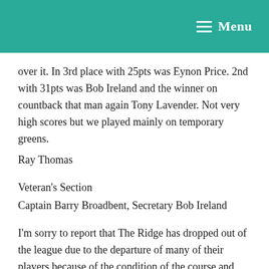Menu
over it. In 3rd place with 25pts was Eynon Price. 2nd with 31pts was Bob Ireland and the winner on countback that man again Tony Lavender. Not very high scores but we played mainly on temporary greens.
Ray Thomas
Veteran's Section
Captain Barry Broadbent, Secretary Bob Ireland
I'm sorry to report that The Ridge has dropped out of the league due to the departure of many of their players because of the condition of the course and management. We hope they may be able to return in the future.